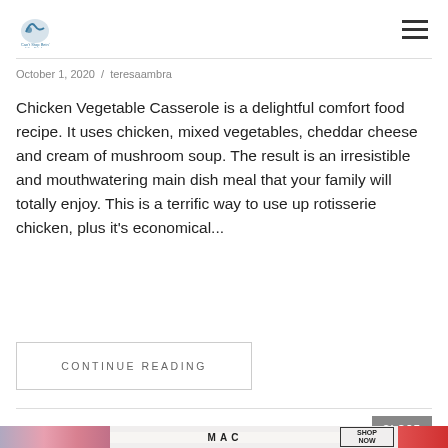[Blog logo] [hamburger menu]
October 1, 2020 / teresaambra
Chicken Vegetable Casserole is a delightful comfort food recipe. It uses chicken, mixed vegetables, cheddar cheese and cream of mushroom soup. The result is an irresistible and mouthwatering main dish meal that your family will totally enjoy. This is a terrific way to use up rotisserie chicken, plus it's economical...
CONTINUE READING
[Figure (photo): MAC cosmetics advertisement banner showing lipsticks and SHOP NOW button]